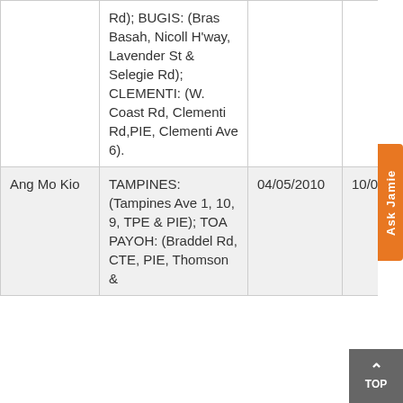|  | Routes / Areas | Start Date | End Date |
| --- | --- | --- | --- |
|  | Rd); BUGIS: (Bras Basah, Nicoll H'way, Lavender St & Selegie Rd); CLEMENTI: (W. Coast Rd, Clementi Rd,PIE, Clementi Ave 6). |  |  |
| Ang Mo Kio | TAMPINES: (Tampines Ave 1, 10, 9, TPE & PIE); TOA PAYOH: (Braddel Rd, CTE, PIE, Thomson & | 04/05/2010 | 10/05/2 |